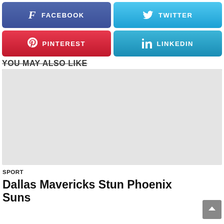[Figure (infographic): Four social share buttons: Facebook (dark blue/purple), Twitter (light blue), Pinterest (red), LinkedIn (blue)]
YOU MAY ALSO LIKE
[Figure (photo): Gray placeholder image for article thumbnail]
SPORT
Dallas Mavericks Stun Phoenix Suns